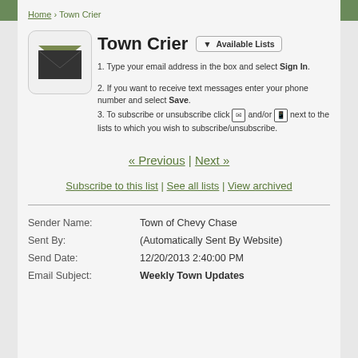Home › Town Crier
Town Crier
1. Type your email address in the box and select Sign In.
2. If you want to receive text messages enter your phone number and select Save.
3. To subscribe or unsubscribe click [email icon] and/or [phone icon] next to the lists to which you wish to subscribe/unsubscribe.
« Previous | Next »
Subscribe to this list | See all lists | View archived
| Sender Name: | Town of Chevy Chase |
| Sent By: | (Automatically Sent By Website) |
| Send Date: | 12/20/2013 2:40:00 PM |
| Email Subject: | Weekly Town Updates |